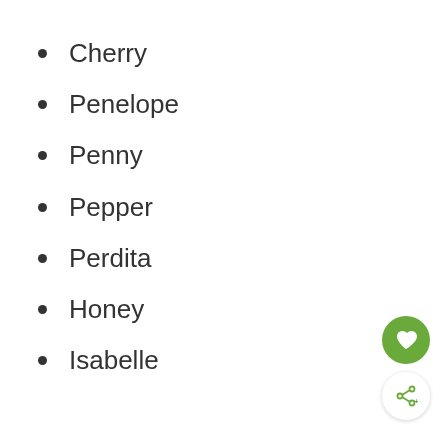Cherry
Penelope
Penny
Pepper
Perdita
Honey
Isabelle